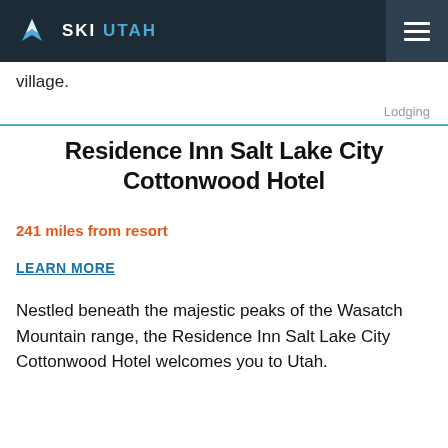SKI UTAH
village.
Lodging
Residence Inn Salt Lake City Cottonwood Hotel
241 miles from resort
LEARN MORE
Nestled beneath the majestic peaks of the Wasatch Mountain range, the Residence Inn Salt Lake City Cottonwood Hotel welcomes you to Utah.